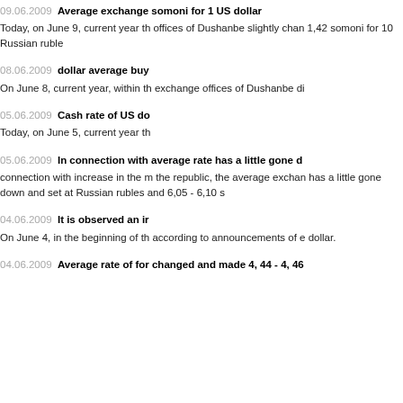09.06.2009  Average exchange somoni for 1 US dollar
Today, on June 9, current year the offices of Dushanbe slightly chan 1,42 somoni for 10 Russian ruble
08.06.2009  dollar average buy
On June 8, current year, within th exchange offices of Dushanbe di
05.06.2009  Cash rate of US do
Today, on June 5, current year th
05.06.2009  In connection with average rate has a little gone d
connection with increase in the m the republic, the average exchan has a little gone down and set at Russian rubles and 6,05 - 6,10 s
04.06.2009  It is observed an ir
On June 4, in the beginning of th according to announcements of e dollar.
04.06.2009  Average rate of for changed and made 4, 44 - 4, 46